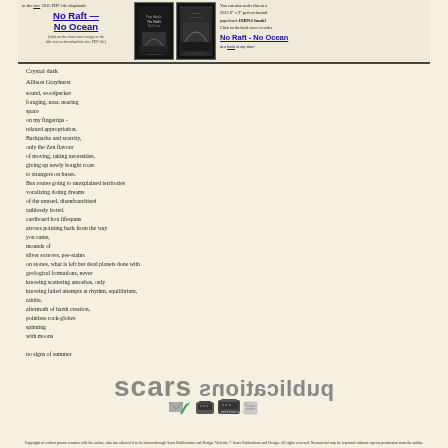[Figure (infographic): Banner with book covers for 'No Raft — No Ocean' by Allison Grayhurst, showing free 2015 PDF chapbook and ISBN paperback ordering information]
Crystal dark
Allison Grayhurst
sound, woodpecker
foraging, near, nearing
space
on my fingertips -
relaxed appropriation.
Backpacks and scarcity,
only the Zen flavour
of moving, taking necessities,
giving up newly bought coats
to strangers on buses.
Bus routes going to unexplained territories
vocalizing doting dreams
of the unused, disenfranchised
rathlessly bored.
cardboard box lifespans
arrows pointing back from the way
you came,
mounds of
silver sorrows, pee-stains
on stones, what is left but dead planets done with
geological formations, never
knowing scattering amoebas, only
knowing failed attempts at rhythm, equilibrium,
rabble,
aftermath of harsh creation,
pointless rock-globes
spinning
with moons

no signs of summer
[Figure (logo): Scars Publications logo text rendered in mirrored/reversed style, followed by small icons including typewriters and writing implements]
Copyright of written poems remains with the author, who has allowed it to be shown through Scars Publications and Design. Web site © Scars Publications and Design. All rights reserved. No material may be reprinted without express permission from the author.